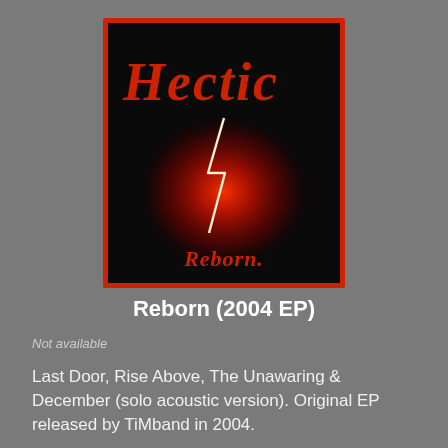[Figure (illustration): Album cover for 'Reborn' by Hectic. Black background with red border. The word 'Hectic' in gothic/metal style letters at the top, red and black. Below is a dramatic red lightning bolt emanating from a red glowing orb/explosion. At the bottom of the image in ornate gothic red lettering reads 'Reborn.']
Reborn (2004 EP)
Not available
Last Door, Rise Above, The Unawaring & December (solo acoustic version). Original EP released by TiMband in 2004.